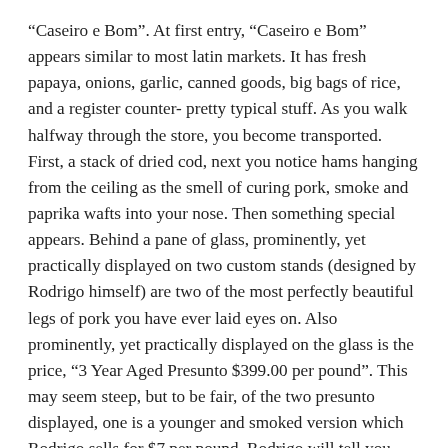“Caseiro e Bom”. At first entry, “Caseiro e Bom” appears similar to most latin markets. It has fresh papaya, onions, garlic, canned goods, big bags of rice, and a register counter- pretty typical stuff. As you walk halfway through the store, you become transported. First, a stack of dried cod, next you notice hams hanging from the ceiling as the smell of curing pork, smoke and paprika wafts into your nose. Then something special appears. Behind a pane of glass, prominently, yet practically displayed on two custom stands (designed by Rodrigo himself) are two of the most perfectly beautiful legs of pork you have ever laid eyes on. Also prominently, yet practically displayed on the glass is the price, “3 Year Aged Presunto $399.00 per pound”. This may seem steep, but to be fair, of the two presunto displayed, one is a younger and smoked version which Rodrigo sells for $7 per pound. Rodrigo will tell you that supply is what drives his pricing. Rodrigo recently won the best ham in America at the Charcuterie Masters Competition for his 3 year Alentejano breed presunto, and he has only 3 left in his inventory. I can tell